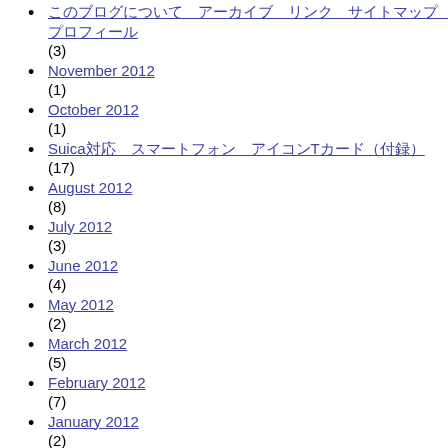（link with Japanese text） (3)
November 2012 (1)
October 2012 (1)
Suica（Japanese text）（Japanese text）T（Japanese text） (17)
August 2012 (8)
July 2012 (3)
June 2012 (4)
May 2012 (2)
March 2012 (5)
February 2012 (7)
January 2012 (2)
December 2011 (2)
November 2011